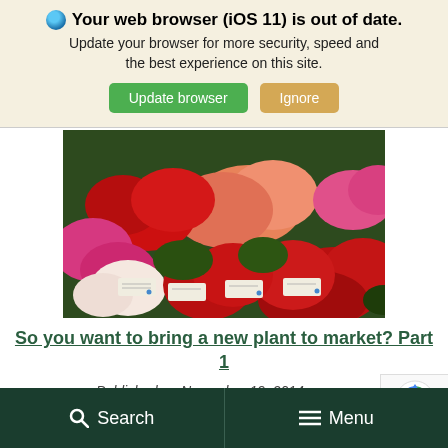Your web browser (iOS 11) is out of date. Update your browser for more security, speed and the best experience on this site. Update browser | Ignore
[Figure (photo): A display of colorful geranium flowers in red, pink, salmon, and white colors arranged on shelves with small plant ID cards/tags visible in the foreground.]
So you want to bring a new plant to market? Part 1
Published on November 19, 2014
[Figure (logo): Google reCAPTCHA badge with blue recycled-arrows logo and Privacy - Terms text]
Search   Menu